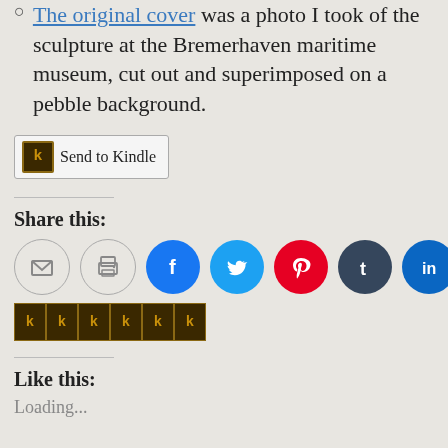The original cover was a photo I took of the sculpture at the Bremerhaven maritime museum, cut out and superimposed on a pebble background.
[Figure (other): Send to Kindle button with Kindle logo icon]
Share this:
[Figure (infographic): Row of social sharing icons: email, print, Facebook, Twitter, Pinterest, Tumblr, LinkedIn, Reddit, Pocket]
[Figure (other): Row of Kindle send buttons/icons strip]
Like this:
Loading...